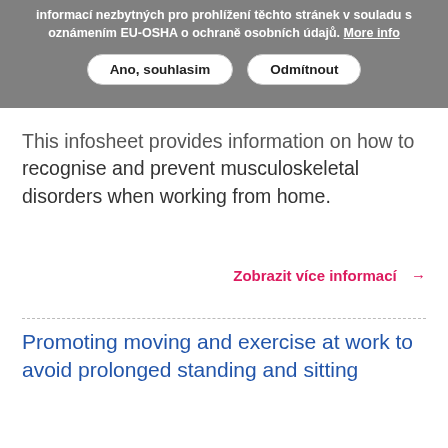informací nezbytných pro prohlížení těchto stránek v souladu s oznámením EU-OSHA o ochraně osobních údajů. More info
Ano, souhlasim | Odmítnout
This infosheet provides information on how to recognise and prevent musculoskeletal disorders when working from home.
Zobrazit více informací →
Promoting moving and exercise at work to avoid prolonged standing and sitting
Guides & Tools  EU  English  EU OSHA
This articles shows how movement and exercise are an important part of tackling a sedentary lifestyle and an important musculoskeletal disorder (MSD) prevention measure. It includes